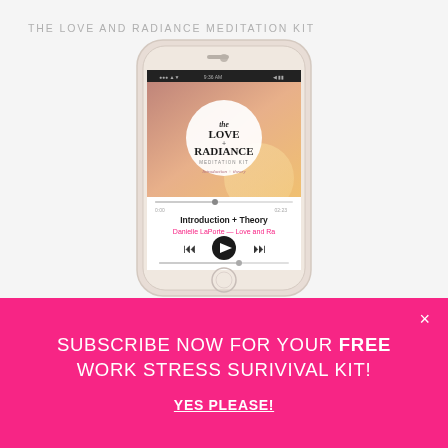THE LOVE AND RADIANCE MEDITATION KIT
[Figure (photo): Smartphone displaying the Love and Radiance Meditation Kit app, showing album art and a music player interface with Introduction + Theory track by Danielle LaPorte — Love and Ra]
SUBSCRIBE NOW FOR YOUR FREE WORK STRESS SURIVIVAL KIT!
YES PLEASE!